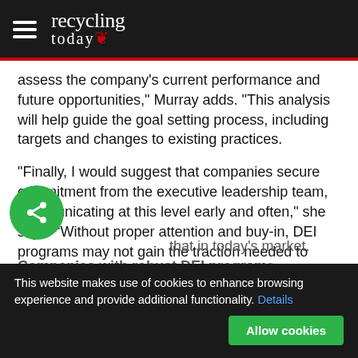recycling today
assess the company's current performance and future opportunities," Murray adds. "This analysis will help guide the goal setting process, including targets and changes to existing practices.
“Finally, I would suggest that companies secure commitment from the executive leadership team, communicating at this level early and often,” she says. “Without proper attention and buy-in, DEI programs may not gain the traction needed to achieve and maintain success.”
For small companies overwhelmed at the thought of making DE&I a more prominent part of their human resources strategy, Murray offers some advice. “Be patient and strategic. Develop a plan and break it down into manageable tasks. Start with a DEI Steering Committee to involve of a cross section of the organization. Make the business case for DEI and leverage that in today’s market. Companies with robust DEI programs have a competitive advantage in the human...
This website makes use of cookies to enhance browsing experience and provide additional functionality. Details Allow cookies